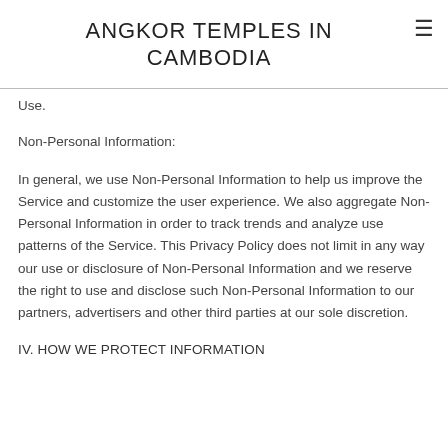ANGKOR TEMPLES IN CAMBODIA
Use.
Non-Personal Information:
In general, we use Non-Personal Information to help us improve the Service and customize the user experience. We also aggregate Non-Personal Information in order to track trends and analyze use patterns of the Service. This Privacy Policy does not limit in any way our use or disclosure of Non-Personal Information and we reserve the right to use and disclose such Non-Personal Information to our partners, advertisers and other third parties at our sole discretion.
IV. HOW WE PROTECT INFORMATION